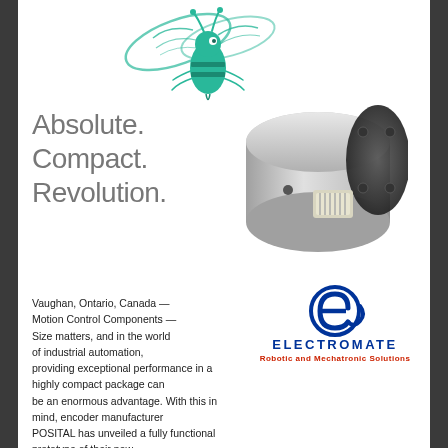[Figure (illustration): Teal/green illustration of a honeybee at the top of the page, wings spread, stylized line art.]
[Figure (photo): Photo of a compact cylindrical rotary encoder device, silver and black, with a white connector plug visible. Positioned to the right of the tagline text.]
Absolute.
Compact.
Revolution.
[Figure (logo): Electromate logo: a circular blue stylized 'e' symbol with a tail, above the text ELECTROMATE in bold blue letters and 'Robotic and Mechatronic Solutions' in bold red.]
Vaughan, Ontario, Canada — Motion Control Components — Size matters, and in the world of industrial automation, providing exceptional performance in a highly compact package can be an enormous advantage. With this in mind, encoder manufacturer POSITAL has unveiled a fully functional prototype of their new